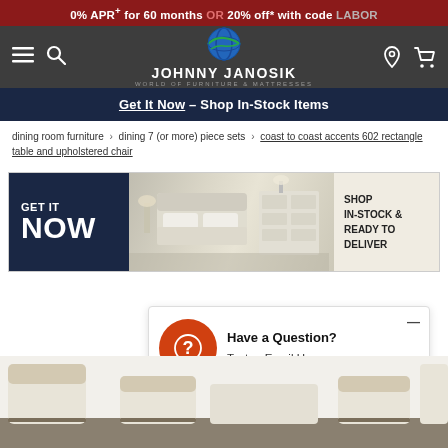0% APR+ for 60 months OR 20% off* with code LABOR
[Figure (logo): Johnny Janosik World of Furniture & Mattresses logo with globe icon, navigation bar with hamburger menu, search icon, location pin, and cart icon]
Get It Now – Shop In-Stock Items
dining room furniture > dining 7 (or more) piece sets > coast to coast accents 602 rectangle table and upholstered chair
[Figure (infographic): GET IT NOW banner - dark navy left panel with GET IT NOW text, center bedroom furniture photo showing white bed and dressers, right panel on cream background reading SHOP IN-STOCK & READY TO DELIVER]
[Figure (infographic): Have a Question? popup with orange circle question mark icon, text reads Have a Question? Text or Email Us]
[Figure (photo): Partial view of dining set showing upholstered chairs with camel/cream fabric and dark wood table at bottom of page]